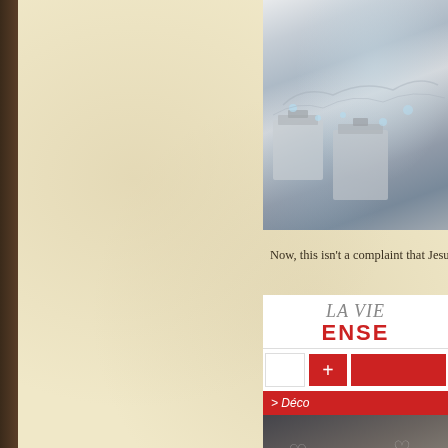[Figure (photo): Christmas/holiday photo with wrapped gifts and decorations, silver/white color scheme, partially visible on the right side of the page]
Now, this isn't a complaint that Jesus isn't France.
[Figure (illustration): Advertisement with text 'LA VIE ENSEMBLE' in red and grey, showing red cross icons and a Découvrir button, with a dark decorative box at the bottom with heart motifs]